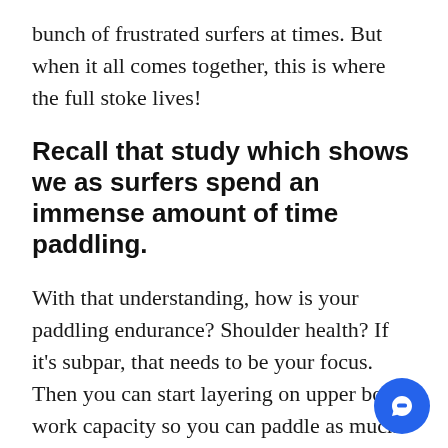bunch of frustrated surfers at times. But when it all comes together, this is where the full stoke lives!
Recall that study which shows we as surfers spend an immense amount of time paddling.
With that understanding, how is your paddling endurance? Shoulder health? If it's subpar, that needs to be your focus. Then you can start layering on upper body work capacity so you can paddle as much as the ocean demands. I want you to be able to paddle for as long as you need you have as much time catching waves as